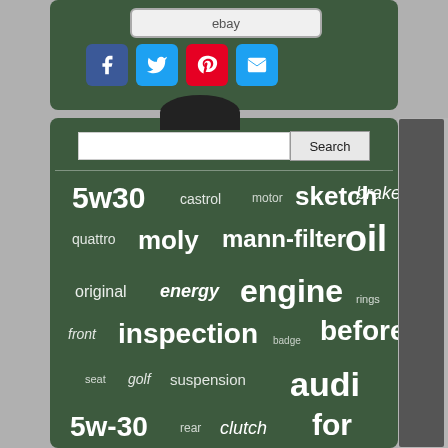[Figure (screenshot): eBay button at top of dark green panel]
[Figure (infographic): Social media share icons: Facebook, Twitter, Pinterest, Email]
[Figure (screenshot): Search bar with text input and Search button]
[Figure (infographic): Word cloud on dark green background with automotive/oil-related terms: 5w30, castrol, motor, sketch, brake, quattro, moly, mann-filter, oil, original, energy, engine, rings, front, inspection, before, badge, seat, golf, suspension, audi, 5w-30, rear, clutch, for, filter, 5w-40, axle, combi, liqui]